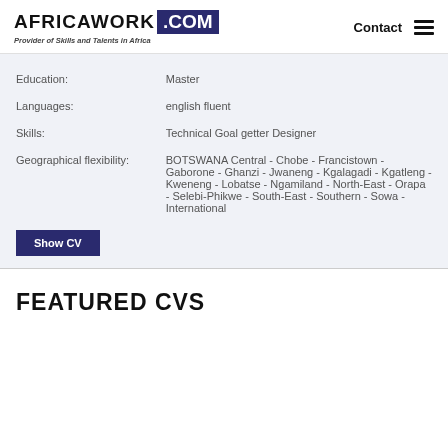AFRICAWORK .COM — Provider of Skills and Talents in Africa — Contact
| Field | Value |
| --- | --- |
| Education: | Master |
| Languages: | english fluent |
| Skills: | Technical Goal getter Designer |
| Geographical flexibility: | BOTSWANA Central - Chobe - Francistown - Gaborone - Ghanzi - Jwaneng - Kgalagadi - Kgatleng - Kweneng - Lobatse - Ngamiland - North-East - Orapa - Selebi-Phikwe - South-East - Southern - Sowa - International |
Show CV
FEATURED CVS